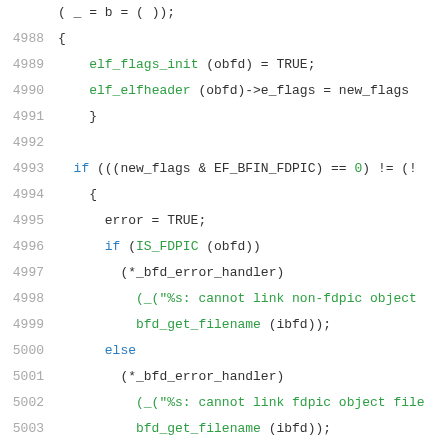[Figure (screenshot): Source code listing in a monospace editor showing C code lines 4988-5008 with syntax highlighting. Line numbers in gray, keywords in blue, string/function tokens in green, plain code in dark gray.]